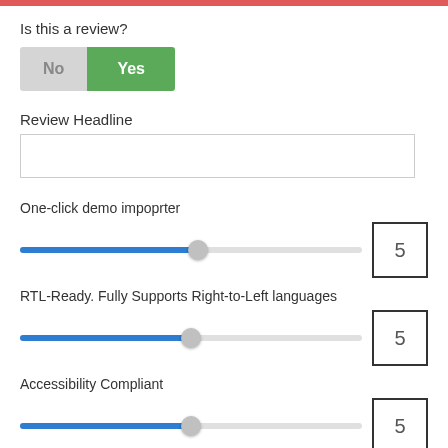Is this a review?
No / Yes toggle
Review Headline
One-click demo impoprter
5
RTL-Ready. Fully Supports Right-to-Left languages
5
Accessibility Compliant
5
Developer-friendly